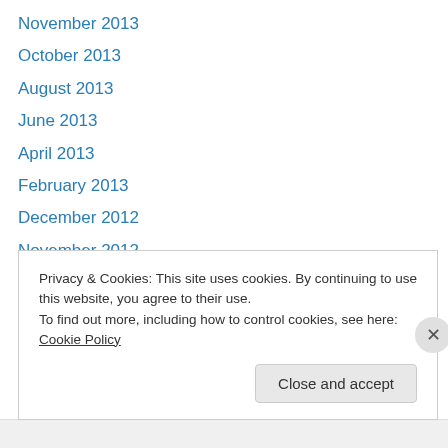November 2013
October 2013
August 2013
June 2013
April 2013
February 2013
December 2012
November 2012
October 2012
August 2012
July 2012
June 2012
May 2012
Privacy & Cookies: This site uses cookies. By continuing to use this website, you agree to their use.
To find out more, including how to control cookies, see here: Cookie Policy
Close and accept